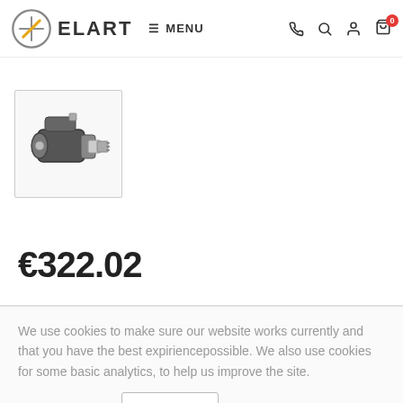ELART — MENU navigation header with phone, search, user, cart icons
[Figure (photo): Automotive starter motor product thumbnail image in a bordered box]
€322.02
We use cookies to make sure our website works currently and that you have the best expiriencepossible. We also use cookies for some basic analytics, to help us improve the site.
LEARN MORE   GOT IT